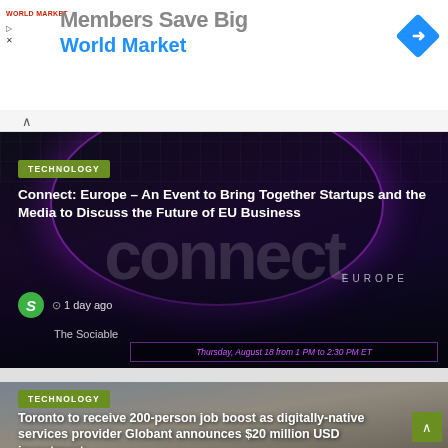[Figure (other): Advertisement banner for World Market: 'Members Save Big' with World Market logo and navigation arrow icon]
[Figure (other): Technology news article card with dark/purple futuristic background featuring stylized city skylines and 'Connect Europe' branding. Large 'connect' watermark text overlaid. Green 'TECHNOLOGY' tag. Title: 'Connect: Europe – An Event to Bring Together Startups and the Media to Discuss the Future of EU Business'. Source: The Sociable, 1 day ago. Webinar bar: Thursday, August 18 from 1 PM to 2:30 PM ET]
[Figure (other): Technology news article card with city skyline background (Toronto). Green 'TECHNOLOGY' tag. Title: 'Toronto to receive 200-person job boost as digitally-native services provider Globant announces $20 million USD investment']